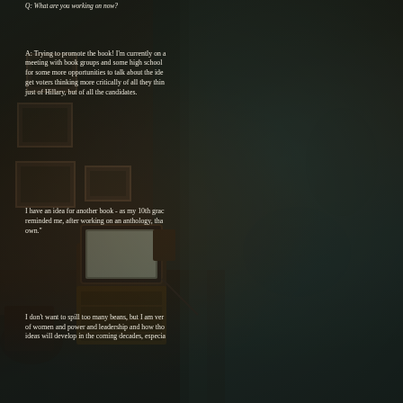Q: What are you working on now?
A: Trying to promote the book! I'm currently on a [tour] meeting with book groups and some high school [classes], for some more opportunities to talk about the ideas, [to] get voters thinking more critically of all they thin[k], not just of Hillary, but of all the candidates.
I have an idea for another book - as my 10th grad[e teacher] reminded me, after working on an anthology, tha[t I should write my] own."
I don't want to spill too many beans, but I am ver[y interested] of women and power and leadership and how tho[se] ideas will develop in the coming decades, especia[lly...]